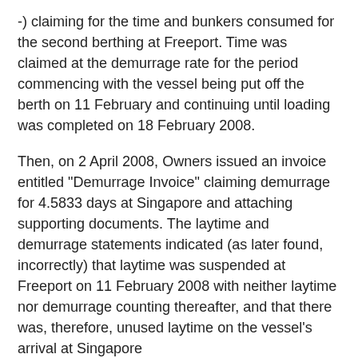-) claiming for the time and bunkers consumed for the second berthing at Freeport. Time was claimed at the demurrage rate for the period commencing with the vessel being put off the berth on 11 February and continuing until loading was completed on 18 February 2008.
Then, on 2 April 2008, Owners issued an invoice entitled "Demurrage Invoice" claiming demurrage for 4.5833 days at Singapore and attaching supporting documents. The laytime and demurrage statements indicated (as later found, incorrectly) that laytime was suspended at Freeport on 11 February 2008 with neither laytime nor demurrage counting thereafter, and that there was, therefore, unused laytime on the vessel's arrival at Singapore
After a series of email exchanges between Owners and Charterers and some minor revisions to the calculations, the Demurrage Invoice was settled and paid. Meanwhile,